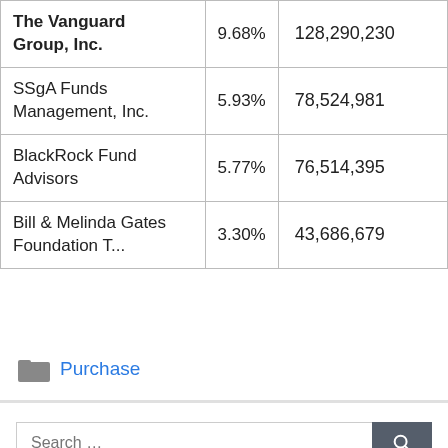|  |  |  |
| --- | --- | --- |
| The Vanguard Group, Inc. | 9.68% | 128,290,230 |
| SSgA Funds Management, Inc. | 5.93% | 78,524,981 |
| BlackRock Fund Advisors | 5.77% | 76,514,395 |
| Bill & Melinda Gates Foundation T... | 3.30% | 43,686,679 |
Purchase